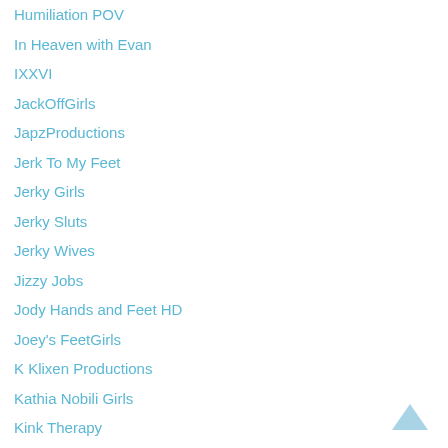Humiliation POV
In Heaven with Evan
IXXVI
JackOffGirls
JapzProductions
Jerk To My Feet
Jerky Girls
Jerky Sluts
Jerky Wives
Jizzy Jobs
Jody Hands and Feet HD
Joey's FeetGirls
K Klixen Productions
Kathia Nobili Girls
Kink Therapy